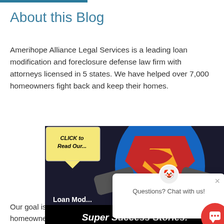About this Blog
Amerihope Alliance Legal Services is a leading loan modification and foreclosure defense law firm with attorneys licensed in 5 states. We have helped over 7,000 homeowners fight back and keep their homes.
[Figure (illustration): Superman-themed promotional image with 'CLICK to Read Our...' badge and 'Loan Mod... Super Success Stories!' text overlay, with a chat popup overlay showing 'Questions? Chat with us!']
Our goal is to provide valuable information to help homeowners